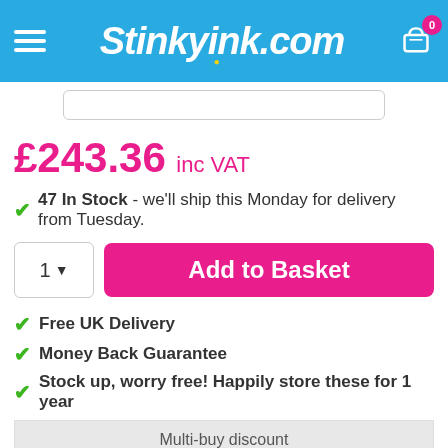Stinkyink.com
£243.36 inc VAT
47 In Stock - we'll ship this Monday for delivery from Tuesday.
Add to Basket
Free UK Delivery
Money Back Guarantee
Stock up, worry free! Happily store these for 1 year
| Multi-buy discount |  |
| --- | --- |
| 2 - 3 | £231.20 each |
| 4+ | £225.12 each |
Check this toner fits your printer: